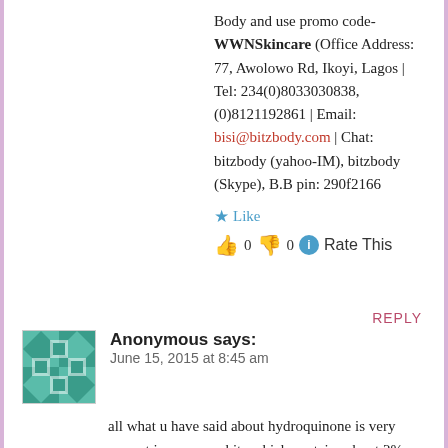Body and use promo code- WWNSkincare (Office Address: 77, Awolowo Rd, Ikoyi, Lagos | Tel: 234(0)8033030838, (0)8121192861 | Email: bisi@bitzbody.com | Chat: bitzbody (yahoo-IM), bitzbody (Skype), B.B pin: 290f2166
Like
👍 0 👎 0 ℹ Rate This
REPLY
Anonymous says:
June 15, 2015 at 8:45 am
all what u have said about hydroquinone is very correct i use caro white which contains about 2% hydroquinone, iam beginning to notice some